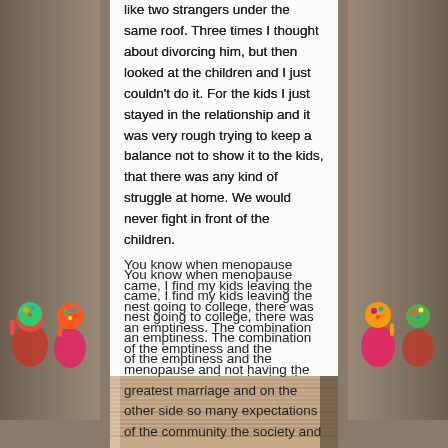like two strangers under the same roof. Three times I thought about divorcing him, but then looked at the children and I just couldn't do it. For the kids I just stayed in the relationship and it was very rough trying to keep a balance not to show it to the kids, that there was any kind of struggle at home. We would never fight in front of the children.
You know when menopause came, I find my kids leaving the nest going to college, there was an emptiness. The combination of the emptiness and the menopause and not having the greatest marriage and on the other side so many expectations of the community the society and financial that stress sort of killed, it pretty much changed me.
[Figure (photo): Bottom portion of an image showing what appears to be a cardboard or wooden surface with horizontal lines/ridges, partially visible at the bottom of the page]